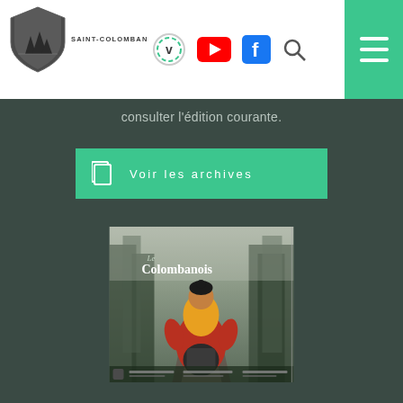[Figure (logo): Saint-Colomban shield logo with text SAINT-COLOMBAN]
consulter l'édition courante.
[Figure (other): Green button with copy icon and text 'Voir les archives']
[Figure (photo): Magazine cover of Le Colombanois showing a parent carrying a child on their shoulders walking on a forest path]